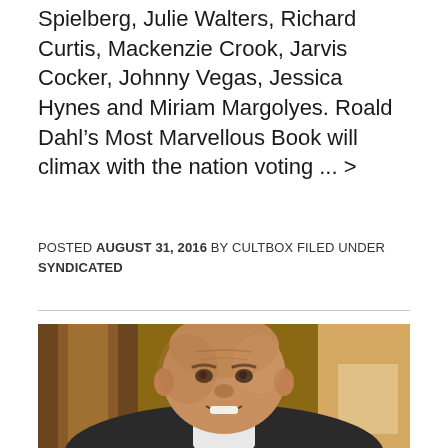Spielberg, Julie Walters, Richard Curtis, Mackenzie Crook, Jarvis Cocker, Johnny Vegas, Jessica Hynes and Miriam Margolyes. Roald Dahl's Most Marvellous Book will climax with the nation voting ... >
POSTED AUGUST 31, 2016 BY CULTBOX FILED UNDER SYNDICATED
[Figure (photo): Close-up photo of a bald smiling man in a dark suit and light shirt, photographed indoors with a warm wooden background]